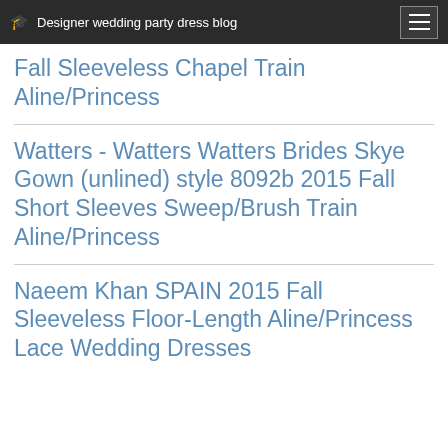Designer wedding party dress blog
Fall Sleeveless Chapel Train Aline/Princess
Watters - Watters Watters Brides Skye Gown (unlined) style 8092b 2015 Fall Short Sleeves Sweep/Brush Train Aline/Princess
Naeem Khan SPAIN 2015 Fall Sleeveless Floor-Length Aline/Princess Lace Wedding Dresses